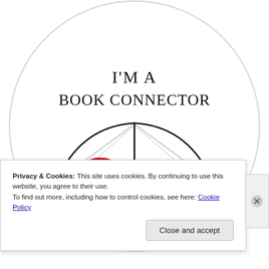[Figure (illustration): A circular badge/button illustration showing an open book. On the left page is a red 'no money' symbol (dollar sign with a red circle and slash). On the right page is a red heart. Above the book text reads 'I'M A BOOK CONNECTOR' in serif/display font. The badge has a light gray circular background.]
Privacy & Cookies: This site uses cookies. By continuing to use this website, you agree to their use.
To find out more, including how to control cookies, see here: Cookie Policy